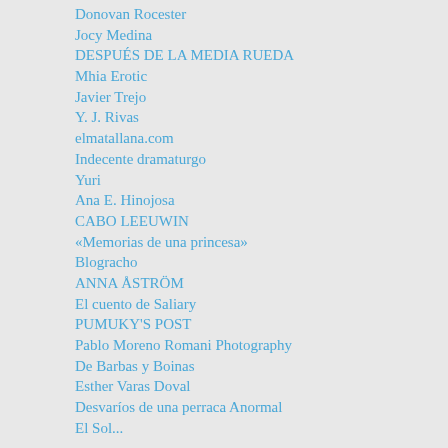Donovan Rocester
Jocy Medina
DESPUÉS DE LA MEDIA RUEDA
Mhia Erotic
Javier Trejo
Y. J. Rivas
elmatallana.com
Indecente dramaturgo
Yuri
Ana E. Hinojosa
CABO LEEUWIN
«Memorias de una princesa»
Blogracho
ANNA ÅSTRÖM
El cuento de Saliary
PUMUKY'S POST
Pablo Moreno Romani Photography
De Barbas y Boinas
Esther Varas Doval
Desvaríos de una perraca Anormal
El Sol...